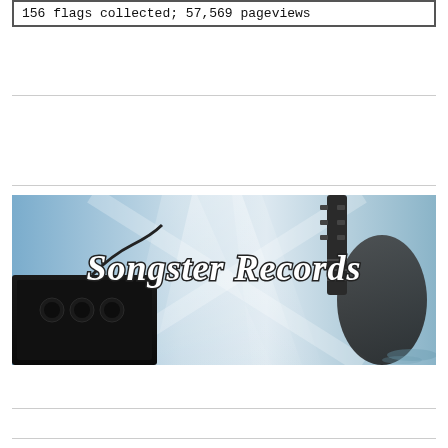156 flags collected; 57,569 pageviews
[Figure (photo): Songster Records banner image showing a guitar amplifier on the left, a guitar neck on the right, a dramatic light beam backdrop, and the text 'Songster Records' in stylized script font in the center.]